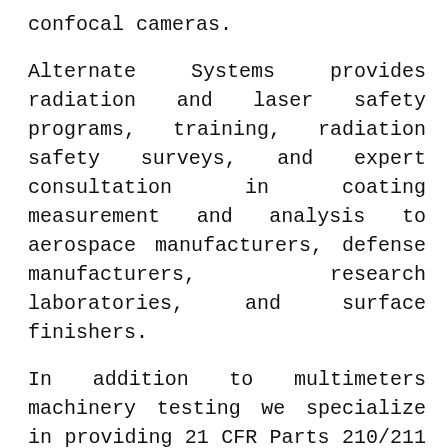confocal cameras.
Alternate Systems provides radiation and laser safety programs, training, radiation safety surveys, and expert consultation in coating measurement and analysis to aerospace manufacturers, defense manufacturers, research laboratories, and surface finishers.
In addition to multimeters machinery testing we specialize in providing 21 CFR Parts 210/211 validation, cold chain GMP services, cold chain cGMP and GXP services, cold chain temperature monitoring, temperature-controlled storage facility mapping, temperature measuring systems, temperature calibration, temperature